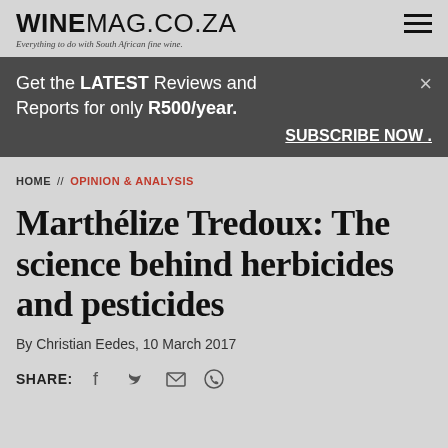WINEMAG.CO.ZA — Everything to do with South African fine wine.
Get the LATEST Reviews and Reports for only R500/year. SUBSCRIBE NOW .
HOME // OPINION & ANALYSIS
Marthélize Tredoux: The science behind herbicides and pesticides
By Christian Eedes, 10 March 2017
SHARE: